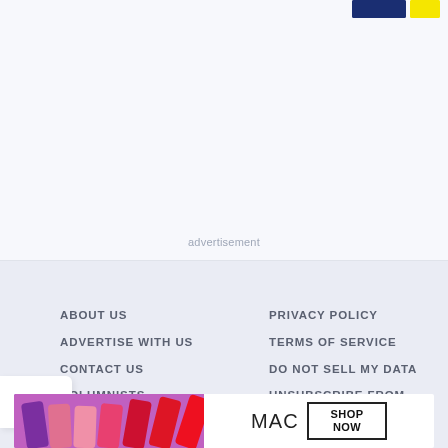[Figure (other): Partial view of logos at top right - a dark blue rectangular logo and a yellow rectangular logo]
advertisement
ABOUT US
PRIVACY POLICY
ADVERTISE WITH US
TERMS OF SERVICE
CONTACT US
DO NOT SELL MY DATA
COLUMNISTS
UNSUBSCRIBE FROM
[Figure (photo): MAC cosmetics advertisement banner showing lipsticks in purple, pink, and red shades with MAC logo and SHOP NOW button]